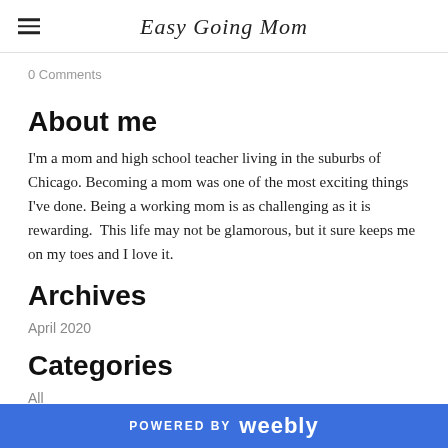Easy Going Mom
0 Comments
About me
I'm a mom and high school teacher living in the suburbs of Chicago. Becoming a mom was one of the most exciting things I've done. Being a working mom is as challenging as it is rewarding.  This life may not be glamorous, but it sure keeps me on my toes and I love it.
Archives
April 2020
Categories
All
POWERED BY weebly